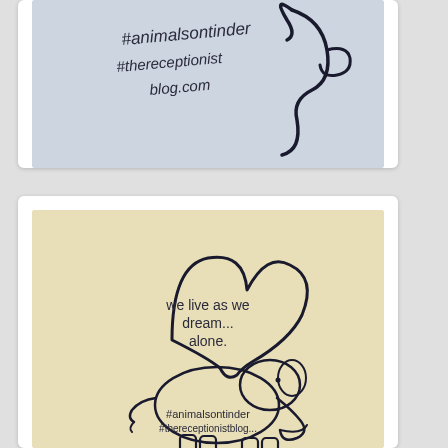[Figure (illustration): Hand-drawn illustration on blue-gray background showing a curling trunk/tail shape with text '#animalsontinder' and '#thereceptionistblog.com' written in marker style]
[Figure (illustration): Hand-drawn illustration on beige background showing an elephant with a heart-shaped speech bubble containing text 'we live as we dream... alone.' with '#animalsontinder' and '#thereceptionistblog.com' text at the bottom]